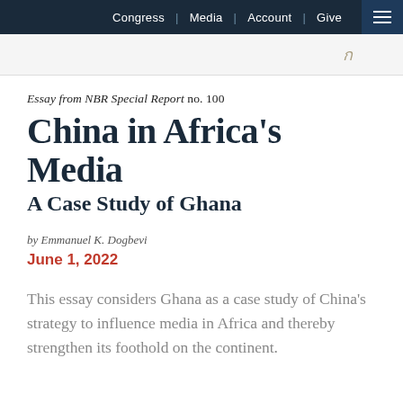Congress | Media | Account | Give
Essay from NBR Special Report no. 100
China in Africa's Media
A Case Study of Ghana
by Emmanuel K. Dogbevi
June 1, 2022
This essay considers Ghana as a case study of China's strategy to influence media in Africa and thereby strengthen its foothold on the continent.